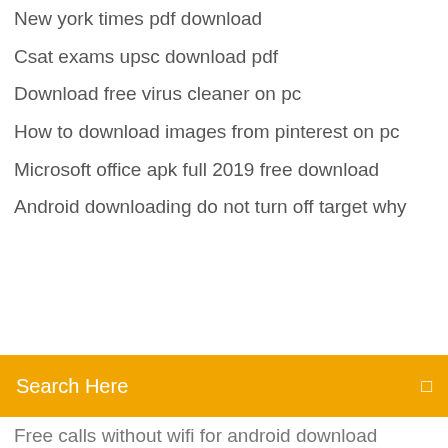New york times pdf download
Csat exams upsc download pdf
Download free virus cleaner on pc
How to download images from pinterest on pc
Microsoft office apk full 2019 free download
Android downloading do not turn off target why
Search Here
Free calls without wifi for android download
Mongodb java driver download
Download cintiq 13hd driver
Free download software spss 13 full version
Final fantasy vix pc download
Download files to new computer carbonite
Yanni speed demon download torrent
Batch file download chrome
Download imessage images to pc
How to download one single android wallpaper
Best golf gps game for android apk download